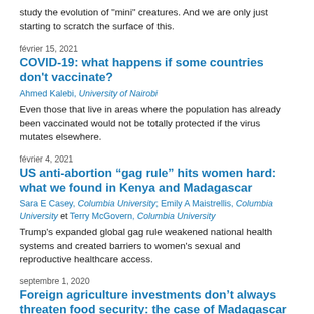study the evolution of "mini" creatures. And we are only just starting to scratch the surface of this.
février 15, 2021
COVID-19: what happens if some countries don't vaccinate?
Ahmed Kalebi, University of Nairobi
Even those that live in areas where the population has already been vaccinated would not be totally protected if the virus mutates elsewhere.
février 4, 2021
US anti-abortion “gag rule” hits women hard: what we found in Kenya and Madagascar
Sara E Casey, Columbia University; Emily A Maistrellis, Columbia University et Terry McGovern, Columbia University
Trump's expanded global gag rule weakened national health systems and created barriers to women's sexual and reproductive healthcare access.
septembre 1, 2020
Foreign agriculture investments don’t always threaten food security: the case of Madagascar
Wegayehu Fitawek, University of Pretoria et Sheryl L Hendriks, University of Pretoria
Agricultural investments could play a role in reducing poverty and improving food security.